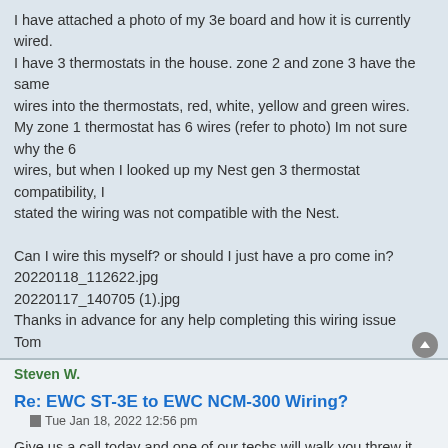I have attached a photo of my 3e board and how it is currently wired. I have 3 thermostats in the house. zone 2 and zone 3 have the same wires into the thermostats, red, white, yellow and green wires. My zone 1 thermostat has 6 wires (refer to photo) Im not sure why the 6 wires, but when I looked up my Nest gen 3 thermostat compatibility, I stated the wiring was not compatible with the Nest.

Can I wire this myself? or should I just have a pro come in?
20220118_112622.jpg
20220117_140705 (1).jpg
Thanks in advance for any help completing this wiring issue
Tom
You do not have the required permissions to view the files attached to this post.
Steven W.
Re: EWC ST-3E to EWC NCM-300 Wiring?
Tue Jan 18, 2022 12:56 pm
Give us a call today and one of our techs will walk you threw it.
1-800-446-3110